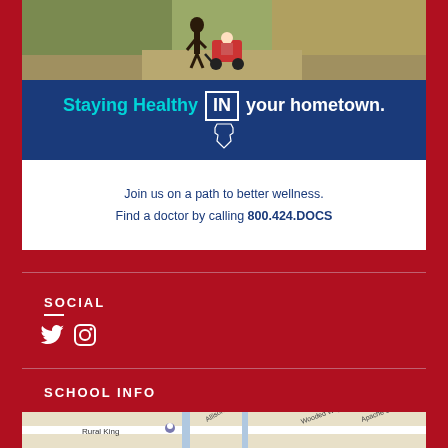[Figure (photo): Outdoor photo showing a person running/jogging while pushing a child in a jogging stroller, surrounded by trees and foliage with autumn colors.]
Staying Healthy IN your hometown.
Join us on a path to better wellness. Find a doctor by calling 800.424.DOCS
SOCIAL
[Figure (illustration): Twitter and Instagram social media icons displayed in white on dark red background.]
SCHOOL INFO
[Figure (map): Google Maps screenshot showing local area with Rural King labeled, Allison Ln road, Wooded Way, and Apache Dr visible.]